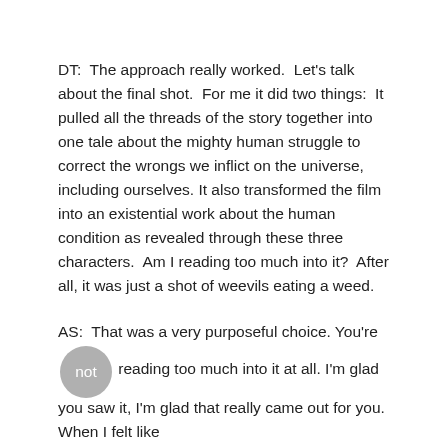DT:  The approach really worked.  Let's talk about the final shot.  For me it did two things:  It pulled all the threads of the story together into one tale about the mighty human struggle to correct the wrongs we inflict on the universe, including ourselves. It also transformed the film into an existential work about the human condition as revealed through these three characters.  Am I reading too much into it?  After all, it was just a shot of weevils eating a weed.
AS:  That was a very purposeful choice. You're not reading too much into it at all. I'm glad you saw it, I'm glad that really came out for you. When I felt like...